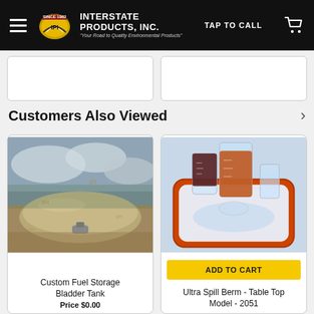Interstate Products, Inc. — TAP TO CALL
Customers Also Viewed
[Figure (photo): Custom Fuel Storage Bladder Tank — large inflatable tan bladder tank on outdoor sandy/muddy ground with cloudy sky, IPI watermarks overlaid]
Custom Fuel Storage Bladder Tank
Price $0.00
[Figure (photo): Ultra Spill Berm Table Top Model 2051 — laboratory beakers with orange/red liquid on an orange rectangular spill berm tray on a light blue background]
ADD TO CART
Ultra Spill Berm - Table Top Model - 2051